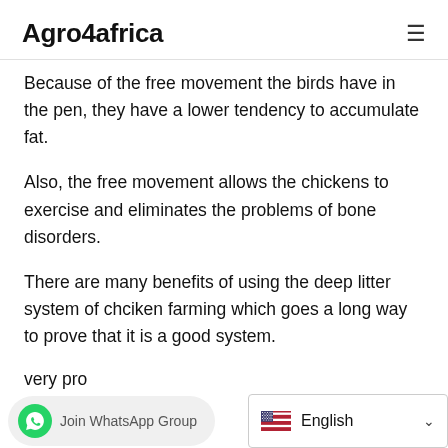Agro4africa
Because of the free movement the birds have in the pen, they have a lower tendency to accumulate fat.
Also, the free movement allows the chickens to exercise and eliminates the problems of bone disorders.
There are many benefits of using the deep litter system of chciken farming which goes a long way to prove that it is a good system.
very pro...